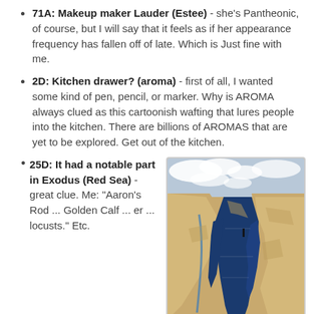71A: Makeup maker Lauder (Estee) - she's Pantheonic, of course, but I will say that it feels as if her appearance frequency has fallen off of late. Which is Just fine with me.
2D: Kitchen drawer? (aroma) - first of all, I wanted some kind of pen, pencil, or marker. Why is AROMA always clued as this cartoonish wafting that lures people into the kitchen. There are billions of AROMAS that are yet to be explored. Get out of the kitchen.
25D: It had a notable part in Exodus (Red Sea) - great clue. Me: "Aaron's Rod ... Golden Calf ... er ... locusts." Etc.
[Figure (photo): Satellite aerial photograph of the Red Sea and surrounding region, showing the body of water in deep blue against tan/brown desert land, with white clouds visible in the upper portion.]
45D: Make balanced (even off) - ick. I had